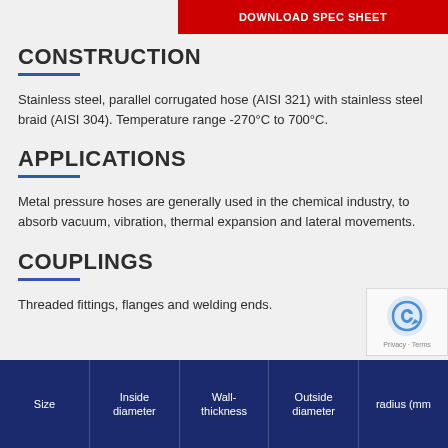DOWNLOAD SPEC SHEET
CONSTRUCTION
Stainless steel, parallel corrugated hose (AISI 321) with stainless steel braid (AISI 304). Temperature range -270°C to 700°C.
APPLICATIONS
Metal pressure hoses are generally used in the chemical industry, to absorb vacuum, vibration, thermal expansion and lateral movements.
COUPLINGS
Threaded fittings, flanges and welding ends.
| Size | Inside diameter | Wall-thickness | Outside diameter | radius (mm |
| --- | --- | --- | --- | --- |